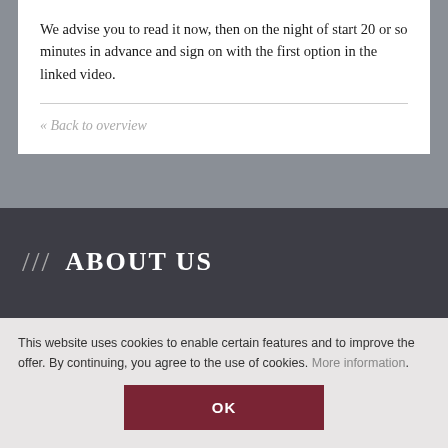We advise you to read it now, then on the night of start 20 or so minutes in advance and sign on with the first option in the linked video.
« Back to overview
/// ABOUT US
Our Mission & History
Constitution
Committee
Honorary Members
This website uses cookies to enable certain features and to improve the offer. By continuing, you agree to the use of cookies. More information.
OK